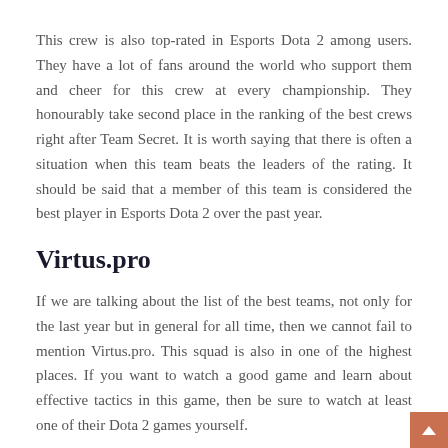This crew is also top-rated in Esports Dota 2 among users. They have a lot of fans around the world who support them and cheer for this crew at every championship. They honourably take second place in the ranking of the best crews right after Team Secret. It is worth saying that there is often a situation when this team beats the leaders of the rating. It should be said that a member of this team is considered the best player in Esports Dota 2 over the past year.
Virtus.pro
If we are talking about the list of the best teams, not only for the last year but in general for all time, then we cannot fail to mention Virtus.pro. This squad is also in one of the highest places. If you want to watch a good game and learn about effective tactics in this game, then be sure to watch at least one of their Dota 2 games yourself.